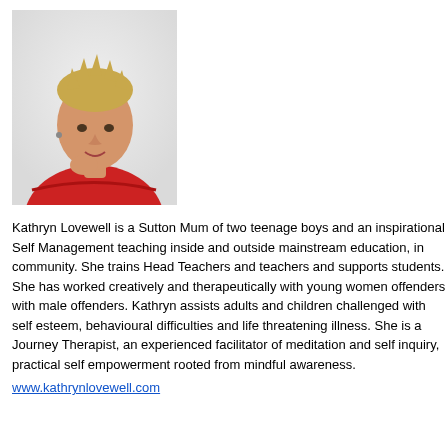[Figure (photo): Headshot photo of Kathryn Lovewell, a woman with short blonde hair wearing a red top, posing with hand near chin against a light background.]
Kathryn Lovewell is a Sutton Mum of two teenage boys and an inspirational Self Management teaching inside and outside mainstream education, in community. She trains Head Teachers and teachers and supports stude She has worked creatively and therapeutically with young women offe with male offenders. Kathryn assists adults and children challenged wi self esteem, behavioural difficulties and life threatening illness. She is Journey Therapist, an experienced facilitator of meditation and self inqu practical self empowerment rooted from mindful awareness.
www.kathrynlovewell.com